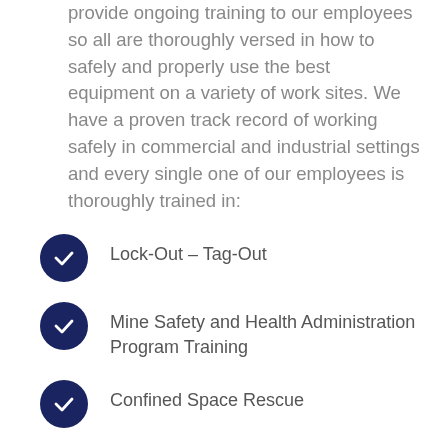provide ongoing training to our employees so all are thoroughly versed in how to safely and properly use the best equipment on a variety of work sites. We have a proven track record of working safely in commercial and industrial settings and every single one of our employees is thoroughly trained in:
Lock-Out – Tag-Out
Mine Safety and Health Administration Program Training
Confined Space Rescue
Confined Space Entry
Bloodborne Pathogens Awareness